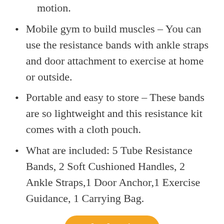motion.
Mobile gym to build muscles – You can use the resistance bands with ankle straps and door attachment to exercise at home or outside.
Portable and easy to store – These bands are so lightweight and this resistance kit comes with a cloth pouch.
What are included: 5 Tube Resistance Bands, 2 Soft Cushioned Handles, 2 Ankle Straps,1 Door Anchor,1 Exercise Guidance, 1 Carrying Bag.
Check Price
9. THE BINGE CODE: 7 UNCONVENTIONAL KEYS TO END BINGE EATING AND LOSE EXCESS WEIGHT (+BONUS AUDIOS)